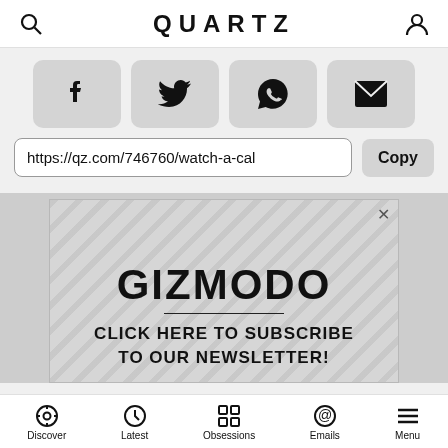QUARTZ
[Figure (screenshot): Share buttons row: Facebook, Twitter, WhatsApp, Email icons on grey rounded buttons]
https://qz.com/746760/watch-a-cal
[Figure (screenshot): Advertisement banner for Gizmodo with diagonal stripe background, GIZMODO logo, and text CLICK HERE TO SUBSCRIBE TO OUR NEWSLETTER!]
Discover | Latest | Obsessions | Emails | Menu